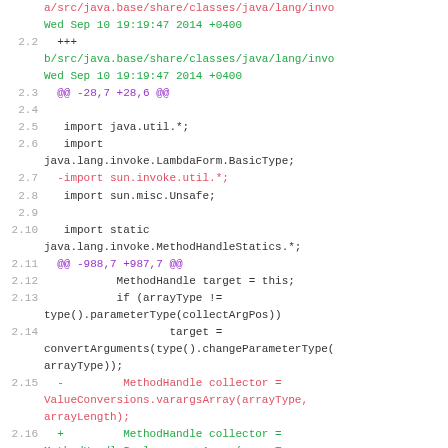a/src/java.base/share/classes/java/lang/invo
Wed Sep 10 19:19:47 2014 +0400
    2.2  +++
b/src/java.base/share/classes/java/lang/invo
Wed Sep 10 19:19:47 2014 +0400
    2.3  @@ -28,7 +28,6 @@
    2.4
    2.5   import java.util.*;
    2.6   import java.lang.invoke.LambdaForm.BasicType;
    2.7  -import sun.invoke.util.*;
    2.8   import sun.misc.Unsafe;
    2.9
   2.10   import static java.lang.invoke.MethodHandleStatics.*;
   2.11  @@ -988,7 +987,7 @@
   2.12           MethodHandle target = this;
   2.13           if (arrayType != type().parameterType(collectArgPos))
   2.14                   target = convertArguments(type().changeParameterType(
                   arrayType));
   2.15  -         MethodHandle collector = ValueConversions.varargsArray(arrayType, arrayLength);
   2.16  +         MethodHandle collector = MethodHandleImpl.varargsArray(arrayType, arrayLength);